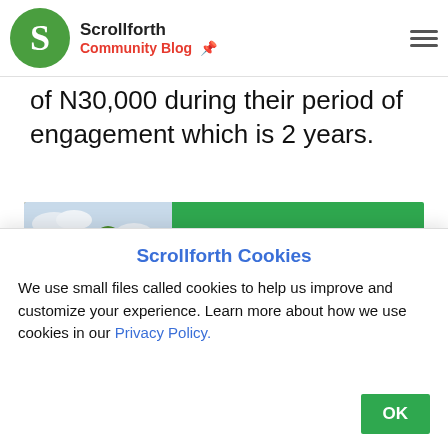Scrollforth Community Blog
of N30,000 during their period of engagement which is 2 years.
[Figure (infographic): See also banner with a construction photo on the left (yellow bulldozer moving earth) and a green panel on the right reading 'See also: Lands For Sale in Ibadan' with a right-pointing arrow]
| N-Power Graduate | Non-Graduate (also known as N-Power Volunteer Corps) |
Scrollforth Cookies
We use small files called cookies to help us improve and customize your experience. Learn more about how we use cookies in our Privacy Policy.